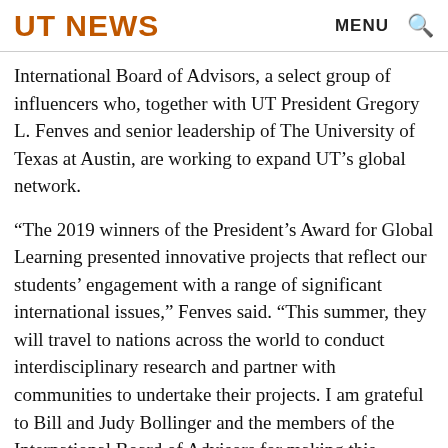UT NEWS
International Board of Advisors, a select group of influencers who, together with UT President Gregory L. Fenves and senior leadership of The University of Texas at Austin, are working to expand UT’s global network.
“The 2019 winners of the President’s Award for Global Learning presented innovative projects that reflect our students’ engagement with a range of significant international issues,” Fenves said. “This summer, they will travel to nations across the world to conduct interdisciplinary research and partner with communities to undertake their projects. I am grateful to Bill and Judy Bollinger and the members of the International Board of Advisors for making this exceptional program possible.”